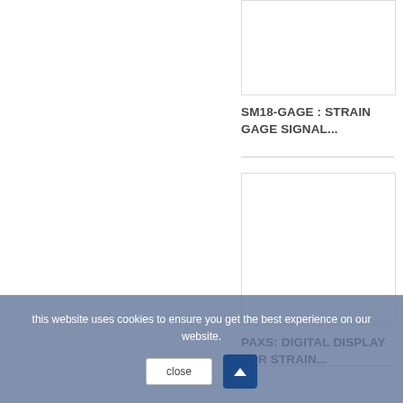[Figure (photo): Product image placeholder box for SM18-GAGE strain gage signal conditioner, white rectangle with border]
SM18-GAGE : STRAIN GAGE SIGNAL...
[Figure (photo): Product image placeholder box for PAXS digital display for strain, white rectangle with border]
PAXS: DIGITAL DISPLAY FOR STRAIN...
this website uses cookies to ensure you get the best experience on our website.
close